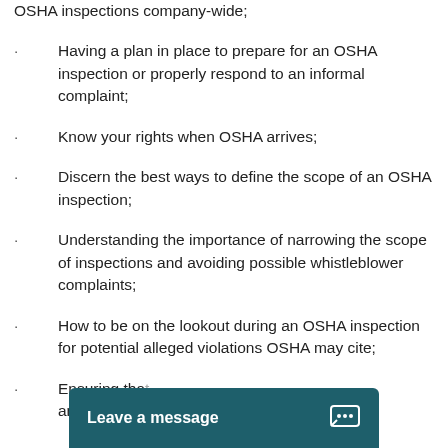OSHA inspections company-wide;
Having a plan in place to prepare for an OSHA inspection or properly respond to an informal complaint;
Know your rights when OSHA arrives;
Discern the best ways to define the scope of an OSHA inspection;
Understanding the importance of narrowing the scope of inspections and avoiding possible whistleblower complaints;
How to be on the lookout during an OSHA inspection for potential alleged violations OSHA may cite;
Ensuring that and employees all a